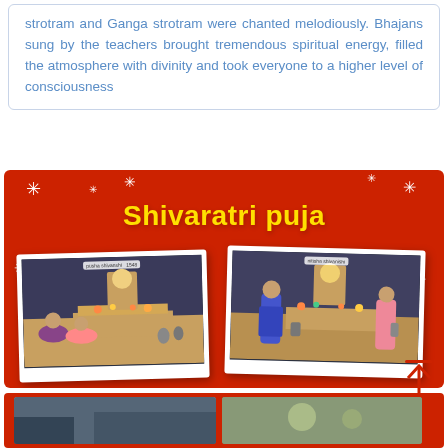strotram and Ganga strotram were chanted melodiously. Bhajans sung by the teachers brought tremendous spiritual energy, filled the atmosphere with divinity and took everyone to a higher level of consciousness
[Figure (photo): Red background banner titled 'Shivaratri puja' with decorative white stars and two polaroid-style photos showing puja ceremony scenes with people performing rituals at an altar with deity idol and flowers]
[Figure (photo): Partial view of another photo section at the bottom of the page showing outdoor scene]